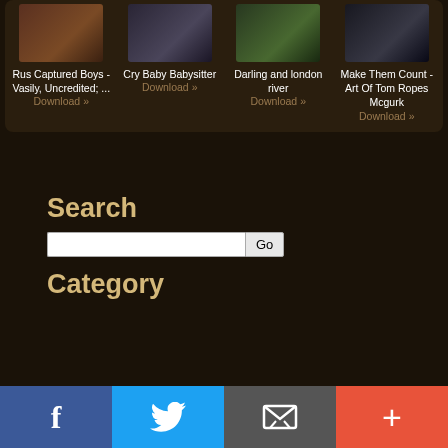[Figure (screenshot): Four media cards with thumbnail images and download links. Card 1: 'Rus Captured Boys - Vasily, Uncredited; ... Download »'. Card 2: 'Cry Baby Babysitter Download »'. Card 3: 'Darling and london river Download »'. Card 4: 'Make Them Count - Art Of Tom Ropes Mcgurk Download »']
Search
Go (search button)
Category
[Figure (infographic): Bottom navigation bar with four buttons: Facebook (blue), Twitter (light blue), Email/envelope (gray), Plus/add (red-orange)]